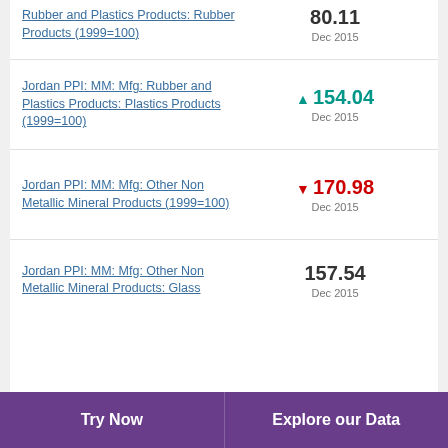Rubber and Plastics Products: Rubber Products (1999=100)
Jordan PPI: MM: Mfg: Rubber and Plastics Products: Plastics Products (1999=100)
Jordan PPI: MM: Mfg: Other Non Metallic Mineral Products (1999=100)
Jordan PPI: MM: Mfg: Other Non Metallic Mineral Products: Glass
Try Now   Explore our Data